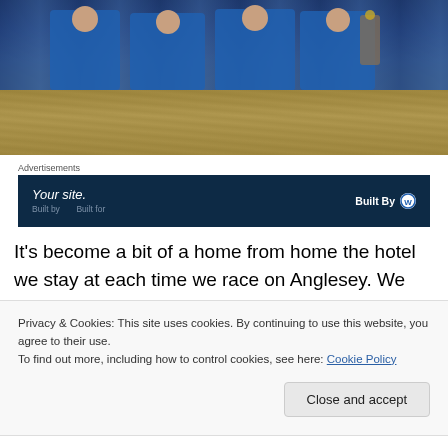[Figure (photo): Photo of people in blue shirts at what appears to be a pub or bar, with a tan/gold upholstered couch/bench in the foreground]
Advertisements
[Figure (screenshot): WordPress advertisement banner with dark navy background showing 'Your site. Built By' with WordPress logo]
It's become a bit of a home from home the hotel we stay at each time we race on Anglesey. We seemed to be the only
Privacy & Cookies: This site uses cookies. By continuing to use this website, you agree to their use.
To find out more, including how to control cookies, see here: Cookie Policy
Close and accept